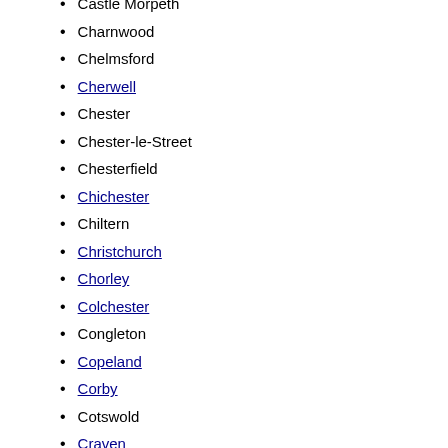Castle Morpeth
Charnwood
Chelmsford
Cherwell
Chester
Chester-le-Street
Chesterfield
Chichester
Chiltern
Christchurch
Chorley
Colchester
Congleton
Copeland
Corby
Cotswold
Craven
Crawley
Crewe and Nantwich
Dacorum
Dartford
Daventry
Derbyshire Dales
Derwentside
Dover